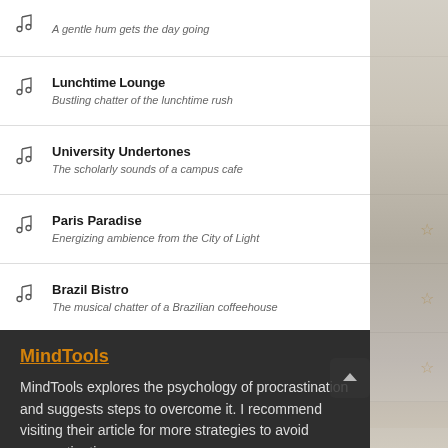A gentle hum gets the day going
Lunchtime Lounge — Bustling chatter of the lunchtime rush
University Undertones — The scholarly sounds of a campus cafe
Paris Paradise — Energizing ambience from the City of Light
Brazil Bistro — The musical chatter of a Brazilian coffeehouse
Texas Teahouse — Hefty sounds from a big state
MindTools
MindTools explores the psychology of procrastination and suggests steps to overcome it. I recommend visiting their article for more strategies to avoid procrastinating.
Step 1: Recognizing that you're